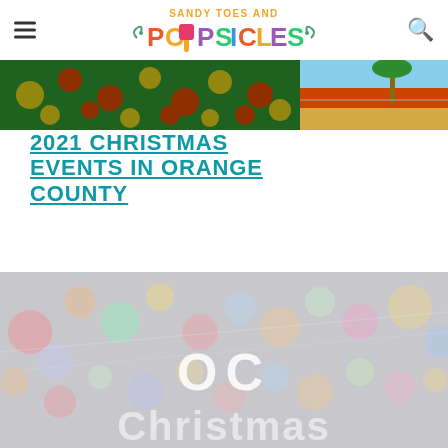Sandy Toes and Popsicles
[Figure (photo): Christmas ornaments on a tree, colorful red, gold, and green balls, with outdoor scene on right]
2021 CHRISTMAS EVENTS IN ORANGE COUNTY
[Figure (photo): Bokeh lights photo with OC Christmas text overlay, soft blurred colorful holiday lights on gray background]